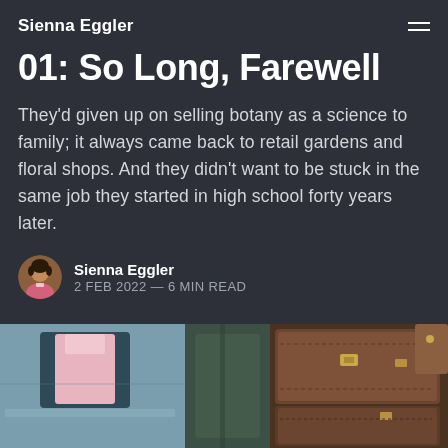Sienna Eggler
01: So Long, Farewell
They'd given up on selling botany as a science to family; it always came back to retail gardens and floral shops. And they didn't want to be stuck in the same job they started in high school forty years later.
Sienna Eggler
2 FEB 2022 — 6 MIN READ
[Figure (photo): Hero image showing stacked vintage leather suitcases and luggage with a pink jacket visible in the background]